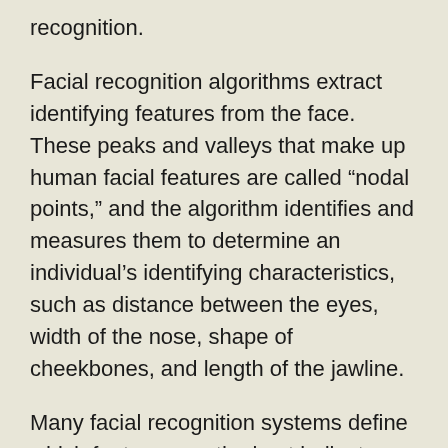recognition.
Facial recognition algorithms extract identifying features from the face. These peaks and valleys that make up human facial features are called “nodal points,” and the algorithm identifies and measures them to determine an individual’s identifying characteristics, such as distance between the eyes, width of the nose, shape of cheekbones, and length of the jawline.
Many facial recognition systems define which features are the best indicators of similarity through machine learning. During this learning process, an algorithm designed for facial